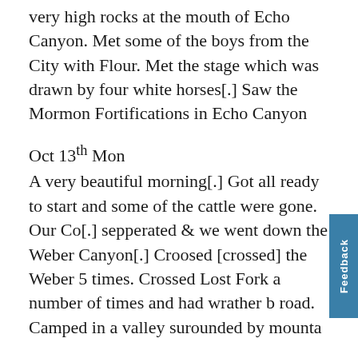very high rocks at the mouth of Echo Canyon. Met some of the boys from the City with Flour. Met the stage which was drawn by four white horses[.] Saw the Mormon Fortifications in Echo Canyon
Oct 13th Mon
A very beautiful morning[.] Got all ready to start and some of the cattle were gone. Our Co[.] sepperated & we went down the Weber Canyon[.] Croosed [crossed] the Weber 5 times. Crossed Lost Fork a number of times and had wrather b road. Camped in a valley surounded by mounta
Oct 14th Tues
A very pleasant day[.] Got started ½ past 8 Oclock. Most romantic road we have had yet.